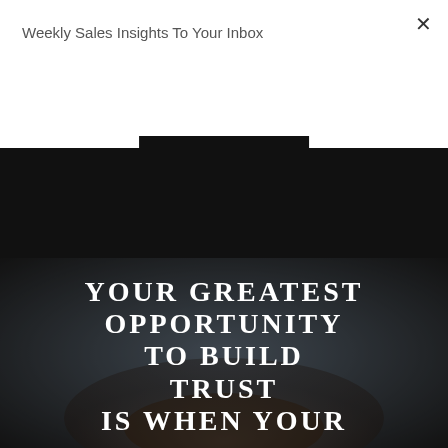Weekly Sales Insights To Your Inbox
Subscribe
×
Read more
[Figure (photo): Dark background image of hands holding a wallet/cards with large white serif text overlay reading: YOUR GREATEST OPPORTUNITY TO BUILD TRUST IS WHEN YOUR CUSTOMERS...]